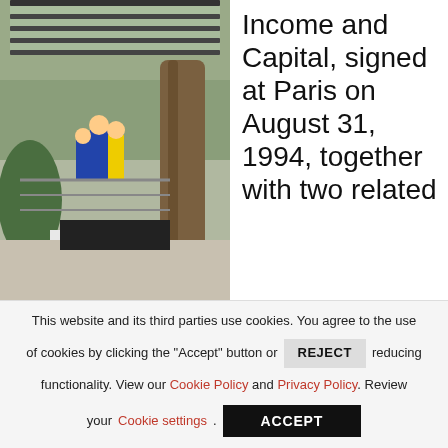[Figure (photo): Outdoor photo showing a glass canopy structure over a walkway with people passing through, potted topiary plants on the left, a large tree trunk on the right, and visible greenery in the background.]
Income and Capital, signed at Paris on August 31, 1994, together with two related
This website and its third parties use cookies. You agree to the use of cookies by clicking the "Accept" button or REJECT reducing functionality. View our Cookie Policy and Privacy Policy. Review your Cookie settings. ACCEPT